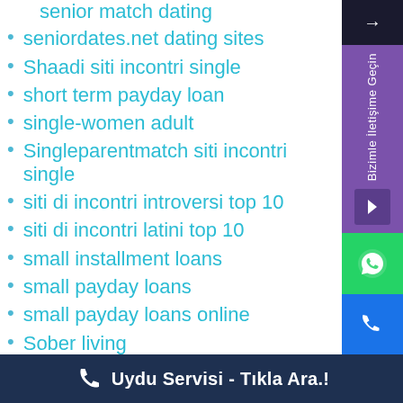senior match dating
seniordates.net dating sites
Shaadi siti incontri single
short term payday loan
single-women adult
Singleparentmatch siti incontri single
siti di incontri introversi top 10
siti di incontri latini top 10
small installment loans
small payday loans
small payday loans online
Sober living
Software development
sovereign advance payday loans
SpicyMatch visitors
SpiritualSingles price
springfield 2 escort book
Straight Dating stranky pro dospele
[Figure (screenshot): Right-side floating widget with purple contact button, WhatsApp icon in green, and phone icon in blue]
Uydu Servisi - Tıkla Ara.!